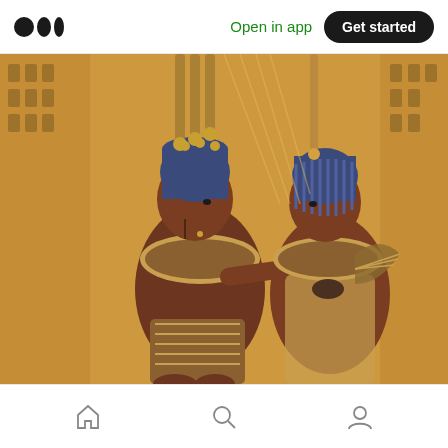Medium logo | Open in app | Get started
[Figure (photo): Ancient Egyptian golden relief artwork showing two figures facing each other — a pharaoh seated on the left wearing a blue crown with ornate headdress and collar, and a queen/goddess on the right also in blue headdress, both with dark skin tones against a gold background with hieroglyphic carvings. The figures appear to be Tutankhamun and Ankhesenamun from the golden throne artwork.]
Home | Search | Profile